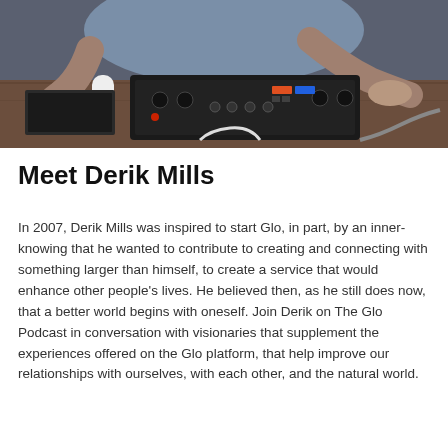[Figure (photo): A person sitting at a desk using an audio interface/mixer device, with a keyboard and other equipment visible on the desk. The person is wearing a blue-grey long sleeve shirt.]
Meet Derik Mills
In 2007, Derik Mills was inspired to start Glo, in part, by an inner-knowing that he wanted to contribute to creating and connecting with something larger than himself, to create a service that would enhance other people's lives. He believed then, as he still does now, that a better world begins with oneself. Join Derik on The Glo Podcast in conversation with visionaries that supplement the experiences offered on the Glo platform, that help improve our relationships with ourselves, with each other, and the natural world.